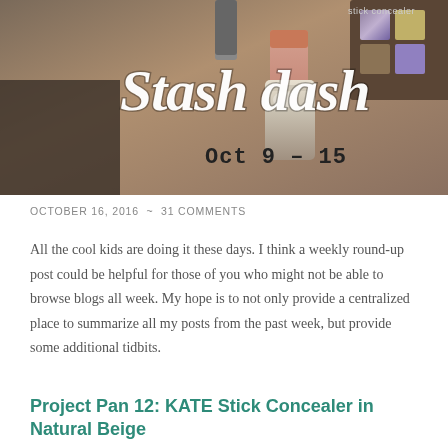[Figure (photo): Hero banner image showing cosmetics/makeup products (lipstick, eyeshadow palette, stick concealer) with large handwritten-style text overlay reading 'Stash dash' and smaller text 'Oct 9 - 15']
OCTOBER 16, 2016  ~  31 COMMENTS
All the cool kids are doing it these days. I think a weekly round-up post could be helpful for those of you who might not be able to browse blogs all week. My hope is to not only provide a centralized place to summarize all my posts from the past week, but provide some additional tidbits.
Project Pan 12: KATE Stick Concealer in Natural Beige